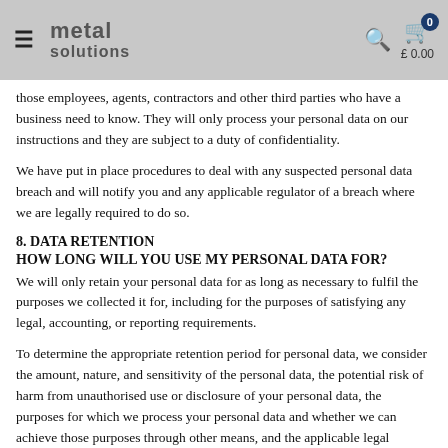metal solutions | £ 0.00
those employees, agents, contractors and other third parties who have a business need to know. They will only process your personal data on our instructions and they are subject to a duty of confidentiality.
We have put in place procedures to deal with any suspected personal data breach and will notify you and any applicable regulator of a breach where we are legally required to do so.
8. DATA RETENTION
HOW LONG WILL YOU USE MY PERSONAL DATA FOR?
We will only retain your personal data for as long as necessary to fulfil the purposes we collected it for, including for the purposes of satisfying any legal, accounting, or reporting requirements.
To determine the appropriate retention period for personal data, we consider the amount, nature, and sensitivity of the personal data, the potential risk of harm from unauthorised use or disclosure of your personal data, the purposes for which we process your personal data and whether we can achieve those purposes through other means, and the applicable legal requirements.
9. YOUR LEGAL RIGHTS
Under certain circumstances, you have rights under data protection laws in